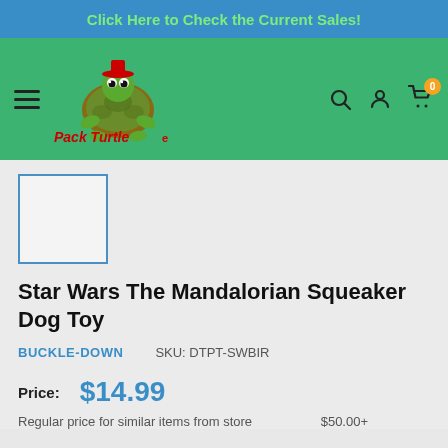Click Here to Check the Current Sales!
[Figure (logo): Pack Turtle e-commerce website logo with a cartoon turtle character wearing a red hat and carrying arrows, with text 'Pack Turtle' in red stylized font]
Star Wars The Mandalorian Squeaker Dog Toy
BUCKLE-DOWN    SKU: DTPT-SWBIR
Price:  $14.99